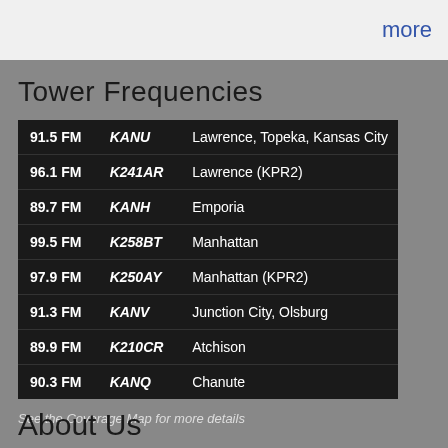more
Tower Frequencies
| Frequency | Call Sign | Location |
| --- | --- | --- |
| 91.5 FM | KANU | Lawrence, Topeka, Kansas City |
| 96.1 FM | K241AR | Lawrence (KPR2) |
| 89.7 FM | KANH | Emporia |
| 99.5 FM | K258BT | Manhattan |
| 97.9 FM | K250AY | Manhattan (KPR2) |
| 91.3 FM | KANV | Junction City, Olsburg |
| 89.9 FM | K210CR | Atchison |
| 90.3 FM | KANQ | Chanute |
See the Coverage Map for more details
About Us